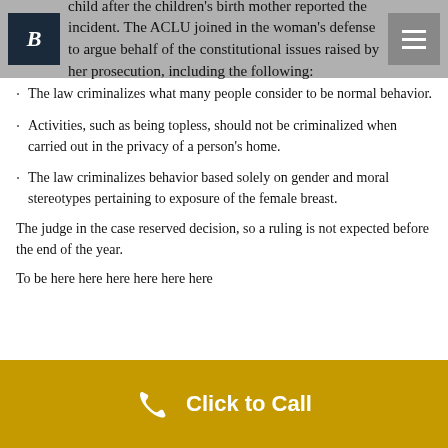child after the children's birth mother reported the incident. The ACLU joined in the woman's defense to argue behalf of the constitutional issues raised by her prosecution, including the following:
The law criminalizes what many people consider to be normal behavior.
Activities, such as being topless, should not be criminalized when carried out in the privacy of a person's home.
The law criminalizes behavior based solely on gender and moral stereotypes pertaining to exposure of the female breast.
The judge in the case reserved decision, so a ruling is not expected before the end of the year.
To be here ...
Click to Call